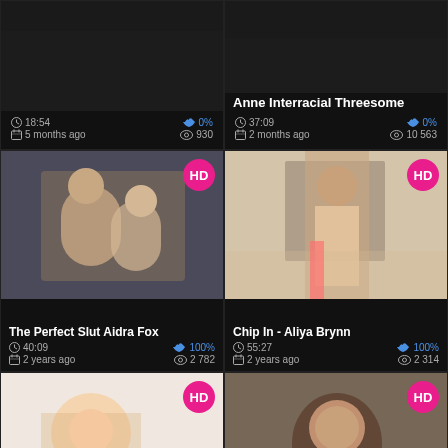[Figure (screenshot): Video thumbnail dark, top-left card, no title visible]
18:54
0%
5 months ago
930
[Figure (screenshot): Video thumbnail, Anne Interracial Threesome]
Anne Interracial Threesome
37:09
0%
2 months ago
10 563
[Figure (screenshot): HD video thumbnail, couple on bed]
The Perfect Slut Aidra Fox
40:09
100%
2 years ago
2 782
[Figure (screenshot): HD video thumbnail, woman standing in room]
Chip In - Aliya Brynn
55:27
100%
2 years ago
2 314
[Figure (screenshot): HD video thumbnail, blonde woman in bikini]
Kenzie Anne's Dick Sucking Plan
[Figure (screenshot): HD video thumbnail, dark-haired woman]
Checkmate